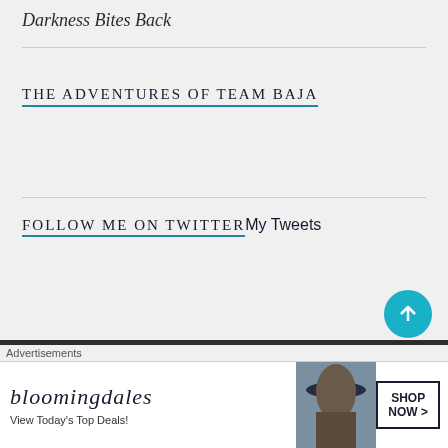Darkness Bites Back
THE ADVENTURES OF TEAM BAJA
FOLLOW ME ON TWITTERMy Tweets
[Figure (screenshot): Bloomingdale's advertisement banner with text 'View Today's Top Deals!' and 'SHOP NOW >']